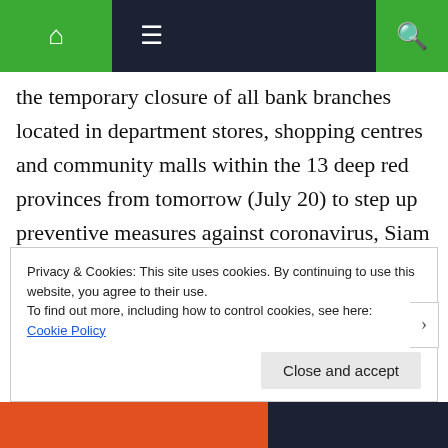Navigation bar with home, menu, and search icons
the temporary closure of all bank branches located in department stores, shopping centres and community malls within the 13 deep red provinces from tomorrow (July 20) to step up preventive measures against coronavirus, Siam Rath newspaper said. The association said this is in keeping with Section 9 of the
Privacy & Cookies: This site uses cookies. By continuing to use this website, you agree to their use.
To find out more, including how to control cookies, see here:
Cookie Policy
Close and accept